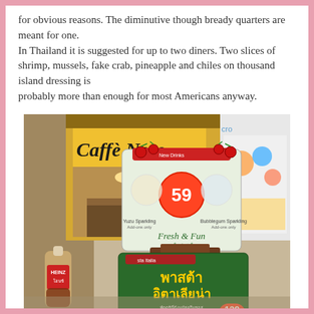for obvious reasons. The diminutive though bready quarters are meant for one.
In Thailand it is suggested for up to two diners. Two slices of shrimp, mussels, fake crab, pineapple and chiles on thousand island dressing is
probably more than enough for most Americans anyway.
[Figure (photo): Photo of a Caffe Nero restaurant in a mall with Thai food menus/signs visible on a table stand in the foreground. A Heinz sauce bottle is visible on the left. The menus show Thai text and prices (59 and 139 baht) with images of food and drinks.]